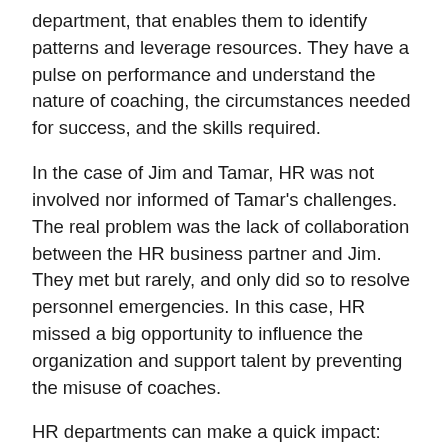department, that enables them to identify patterns and leverage resources. They have a pulse on performance and understand the nature of coaching, the circumstances needed for success, and the skills required.
In the case of Jim and Tamar, HR was not involved nor informed of Tamar's challenges. The real problem was the lack of collaboration between the HR business partner and Jim. They met but rarely, and only did so to resolve personnel emergencies. In this case, HR missed a big opportunity to influence the organization and support talent by preventing the misuse of coaches.
HR departments can make a quick impact:
Ask about performance and dig into which actions the